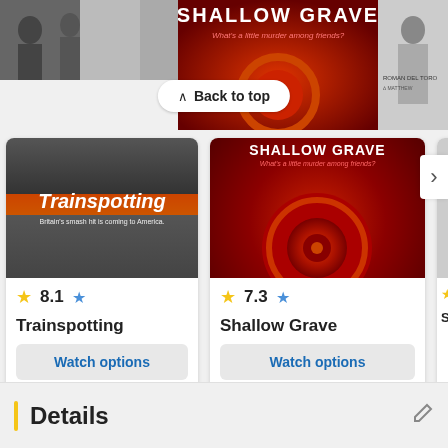[Figure (screenshot): Top banner showing partial movie poster images and a Back to top button]
[Figure (screenshot): Trainspotting movie card with orange poster, rating 8.1, Watch options button, Trailer button, and info icon]
[Figure (screenshot): Shallow Grave movie card with red poster, rating 7.3, Watch options button, Trailer button, and info icon]
[Figure (screenshot): Partially visible third movie card with rating 8. and title starting Snat]
Details